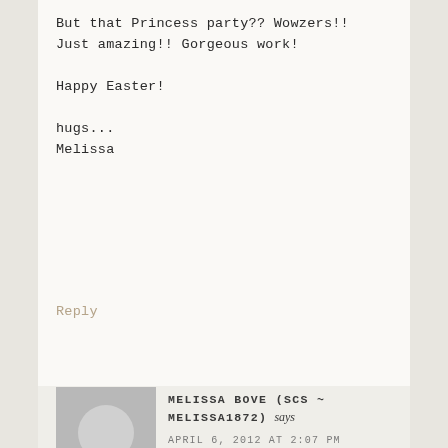But that Princess party?? Wowzers!!
Just amazing!! Gorgeous work!

Happy Easter!

hugs...
Melissa
Reply
MELISSA BOVE (SCS ~ MELISSA1872) says
APRIL 6, 2012 AT 2:07 PM